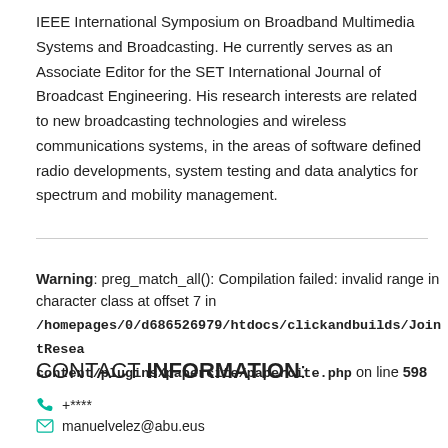IEEE International Symposium on Broadband Multimedia Systems and Broadcasting. He currently serves as an Associate Editor for the SET International Journal of Broadcast Engineering. His research interests are related to new broadcasting technologies and wireless communications systems, in the areas of software defined radio developments, system testing and data analytics for spectrum and mobility management.
Warning: preg_match_all(): Compilation failed: invalid range in character class at offset 7 in /homepages/0/d686526979/htdocs/clickandbuilds/JointResea... content/plugins/papercite/papercite.php on line 598
CONTACT INFORMATION:
+****
manuelvelez@abu.eus